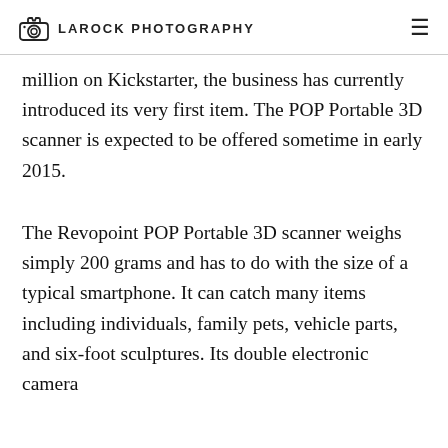LAROCK PHOTOGRAPHY
million on Kickstarter, the business has currently introduced its very first item. The POP Portable 3D scanner is expected to be offered sometime in early 2015.
The Revopoint POP Portable 3D scanner weighs simply 200 grams and has to do with the size of a typical smartphone. It can catch many items including individuals, family pets, vehicle parts, and six-foot sculptures. Its double electronic camera